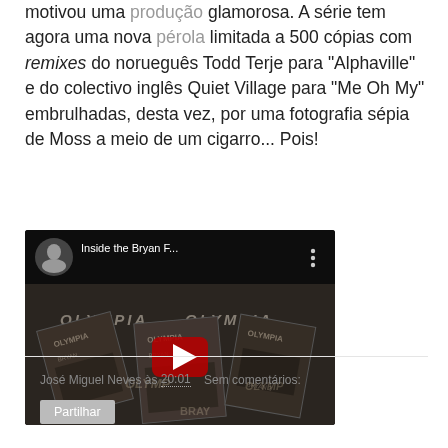motivou uma produção glamorosa. A série tem agora uma nova pérola limitada a 500 cópias com remixes do norueguês Todd Terje para "Alphaville" e do colectivo inglês Quiet Village para "Me Oh My" embrulhadas, desta vez, por uma fotografia sépia de Moss a meio de um cigarro... Pois!
[Figure (screenshot): Embedded YouTube video thumbnail showing 'Inside the Bryan F...' with a black and white image of Olympia album covers and a red play button in the center.]
José Miguel Neves às 20:01    Sem comentários:
Partilhar